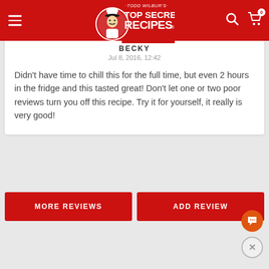[Figure (screenshot): Todd Wilbur's Top Secret Recipes website header with red background, logo (chef character), hamburger menu, search icon, and cart icon with badge showing 0]
BECKY
Jul 8, 2016, 12:42
Didn't have time to chill this for the full time, but even 2 hours in the fridge and this tasted great! Don't let one or two poor reviews turn you off this recipe. Try it for yourself, it really is very good!
MORE REVIEWS
ADD REVIEW